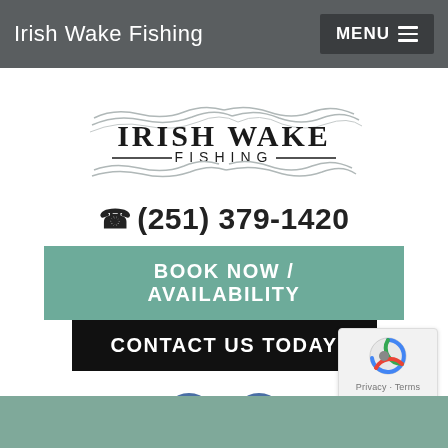Irish Wake Fishing  MENU
[Figure (logo): Irish Wake Fishing logo with stylized wave lines above and below the text IRISH WAKE FISHING]
☎ (251) 379-1420
BOOK NOW / AVAILABILITY
CONTACT US TODAY
[Figure (illustration): Facebook and Instagram social media icon buttons, circular blue icons]